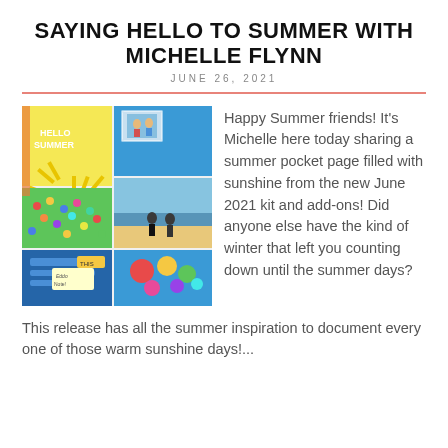SAYING HELLO TO SUMMER WITH MICHELLE FLYNN
JUNE 26, 2021
[Figure (photo): Scrapbook pocket page collage with summer-themed cards, photos, and journaling cards in yellow, blue, green, and pink colors]
Happy Summer friends! It's Michelle here today sharing a summer pocket page filled with sunshine from the new June 2021 kit and add-ons! Did anyone else have the kind of winter that left you counting down until the summer days? This release has all the summer inspiration to document every one of those warm sunshine days!...